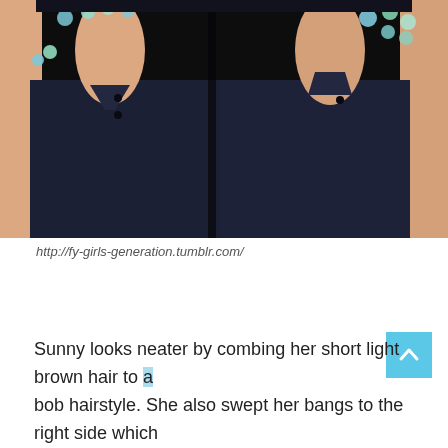[Figure (photo): Close-up photo of a person wearing a dark navy sleeveless top with jeweled/rhinestone embellishments near the neckline and shoulder area. The image shows two views or two people side by side, both wearing similar dark outfits. Background is black.]
http://fy-girls-generation.tumblr.com/
Sunny looks neater by combing her short light brown hair to a bob hairstyle. She also swept her bangs to the right side which